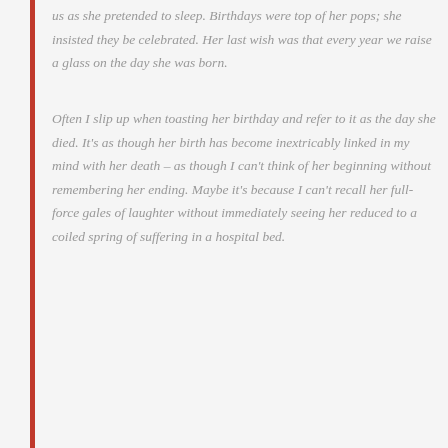us as she pretended to sleep. Birthdays were top of her pops; she insisted they be celebrated. Her last wish was that every year we raise a glass on the day she was born.
Often I slip up when toasting her birthday and refer to it as the day she died. It's as though her birth has become inextricably linked in my mind with her death – as though I can't think of her beginning without remembering her ending. Maybe it's because I can't recall her full-force gales of laughter without immediately seeing her reduced to a coiled spring of suffering in a hospital bed.